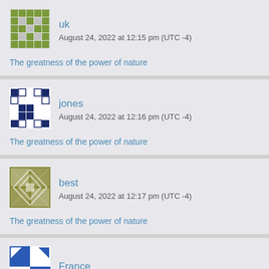[Figure (illustration): Avatar for user 'uk' - green geometric pattern identicon]
uk
August 24, 2022 at 12:15 pm (UTC -4)
The greatness of the power of nature
[Figure (illustration): Avatar for user 'jones' - dark blue/white geometric pattern identicon]
jones
August 24, 2022 at 12:16 pm (UTC -4)
The greatness of the power of nature
[Figure (illustration): Avatar for user 'best' - olive/khaki geometric pattern identicon]
best
August 24, 2022 at 12:17 pm (UTC -4)
The greatness of the power of nature
[Figure (illustration): Avatar for user 'France' - blue/white geometric pattern identicon]
France